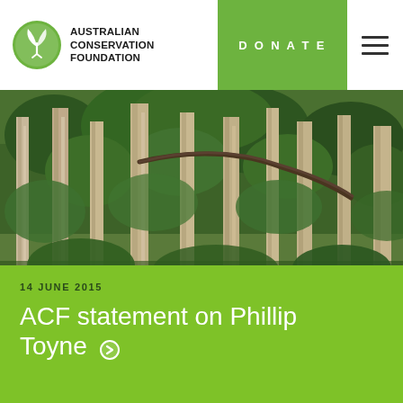AUSTRALIAN CONSERVATION FOUNDATION
[Figure (photo): Dense eucalyptus forest with tall grey-white trunks and green canopy overhead]
14 JUNE 2015
ACF statement on Phillip Toyne